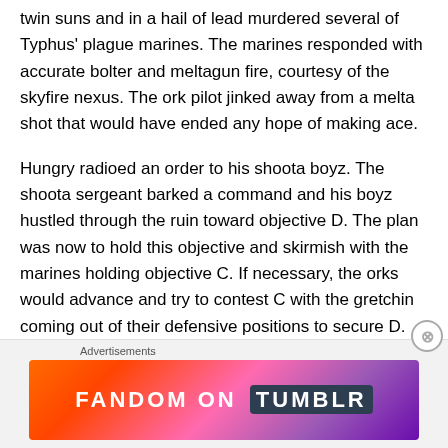twin suns and in a hail of lead murdered several of Typhus' plague marines. The marines responded with accurate bolter and meltaun fire, courtesy of the skyfire nexus. The ork pilot jinked away from a melta shot that would have ended any hope of making ace.
Hungry radioed an order to his shoota boyz. The shoota sergeant barked a command and his boyz hustled through the ruin toward objective D. The plan was now to hold this objective and skirmish with the marines holding objective C. If necessary, the orks would advance and try to contest C with the gretchin coming out of their defensive positions to secure D.
[Figure (other): Fandom on Tumblr advertisement banner with colorful gradient background (orange to purple) and white bold text reading FANDOM ON tumblr]